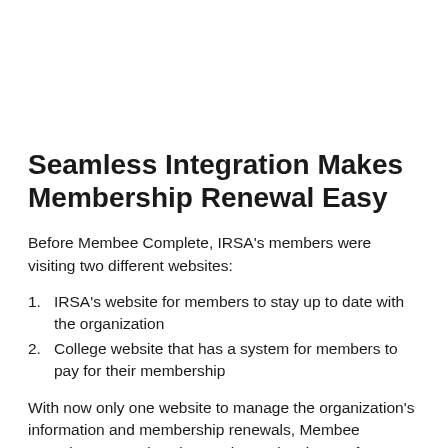Seamless Integration Makes Membership Renewal Easy
Before Membee Complete, IRSA's members were visiting two different websites:
IRSA's website for members to stay up to date with the organization
College website that has a system for members to pay for their membership
With now only one website to manage the organization's information and membership renewals, Membee Complete's seamless integration makes it easy for members to complete